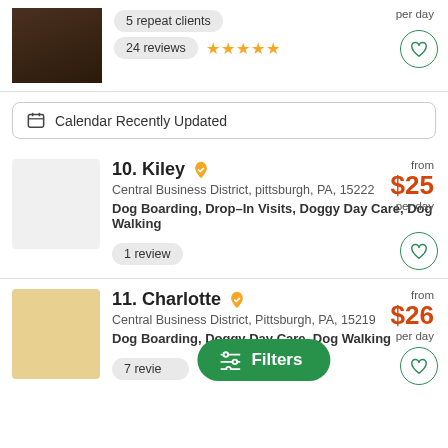per day
5 repeat clients
24 reviews ★★★★★
📅 Calendar Recently Updated
10. Kiley
Central Business District, pittsburgh, PA, 15222
Dog Boarding, Drop-In Visits, Doggy Day Care, Dog Walking
from $25 per day
1 review
11. Charlotte
Central Business District, Pittsburgh, PA, 15219
Dog Boarding, Doggy Day Care, Dog Walking
from $26 per day
7 reviews
Filters